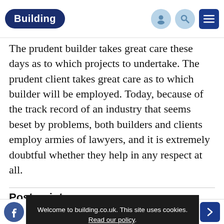Building
The prudent builder takes great care these days as to which projects to undertake. The prudent client takes great care as to which builder will be employed. Today, because of the track record of an industry that seems beset by problems, both builders and clients employ armies of lawyers, and it is extremely doubtful whether they help in any respect at all.
Postscript
Welcome to building.co.uk. This site uses cookies. Read our policy.